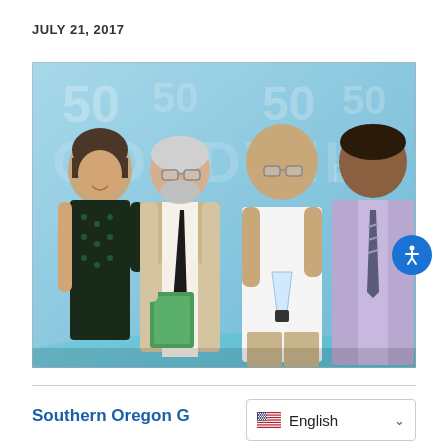JULY 21, 2017
[Figure (photo): Four people posing for a photo in front of a blue backdrop with '50' and 'GOODWILL' text. From left: a woman in a dark patterned dress, a man in a beige blazer with a dark tie holding a green booklet, a bald man in a white shirt holding a glass award, and a man in a light purple shirt with a striped tie.]
Southern Oregon G...